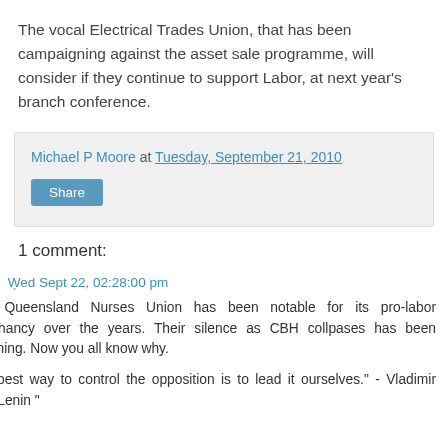The vocal Electrical Trades Union, that has been campaigning against the asset sale programme, will consider if they continue to support Labor, at next year's branch conference.
Michael P Moore at Tuesday, September 21, 2010
Share
1 comment:
PaulB Wed Sept 22, 02:28:00 pm
Thye Queensland Nurses Union has been notable for its pro-labor sycophancy over the years. Their silence as CBH collpases has been deafening. Now you all know why.
"The best way to control the opposition is to lead it ourselves." - Vladimir Ilyich Lenin "